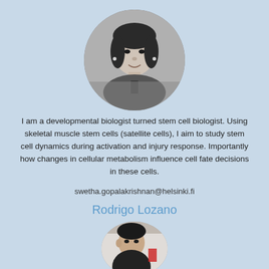[Figure (photo): Circular black and white headshot photo of a woman smiling]
I am a developmental biologist turned stem cell biologist. Using skeletal muscle stem cells (satellite cells), I aim to study stem cell dynamics during activation and injury response. Importantly how changes in cellular metabolism influence cell fate decisions in these cells.
swetha.gopalakrishnan@helsinki.fi
Rodrigo Lozano
[Figure (photo): Circular color photo of a man, partially shown at bottom of page]